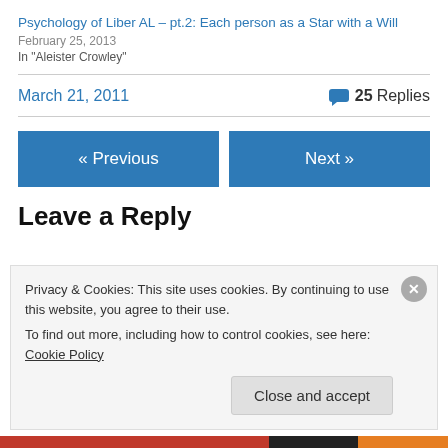Psychology of Liber AL – pt.2: Each person as a Star with a Will
February 25, 2013
In "Aleister Crowley"
March 21, 2011
25 Replies
« Previous
Next »
Leave a Reply
Privacy & Cookies: This site uses cookies. By continuing to use this website, you agree to their use.
To find out more, including how to control cookies, see here: Cookie Policy
Close and accept